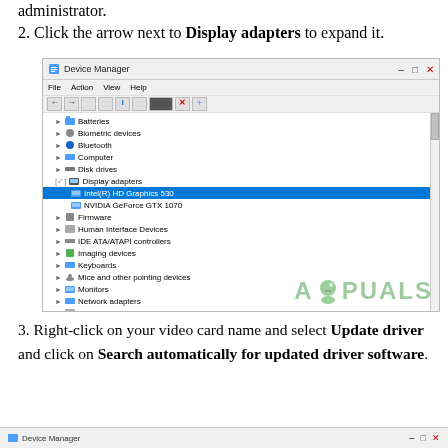administrator.
2. Click the arrow next to Display adapters to expand it.
[Figure (screenshot): Device Manager window showing expanded Display adapters with Intel(R) HD Graphics 530 highlighted and NVIDIA GeForce GTX 1070 listed. Tree includes Batteries, Biometric devices, Bluetooth, Computer, Disk drives, Display adapters (expanded), Firmware, Human Interface Devices, IDE ATA/ATAPI controllers, Imaging devices, Keyboards, Mice and other pointing devices, Monitors, Network adapters, Print queues, Processors, Sensor I/O devices, Software components, Software devices, Sound video and game controllers, Storage controllers, System devices, Universal Serial Bus controllers. Appuals watermark visible.]
3. Right-click on your video card name and select Update driver and click on Search automatically for updated driver software.